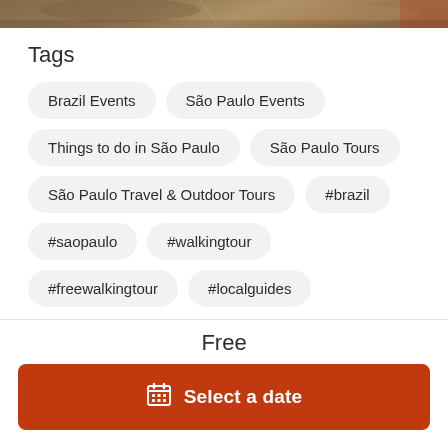[Figure (photo): Top strip of an aerial/outdoor photograph, partially visible]
Tags
Brazil Events
São Paulo Events
Things to do in São Paulo
São Paulo Tours
São Paulo Travel & Outdoor Tours
#brazil
#saopaulo
#walkingtour
#freewalkingtour
#localguides
Free